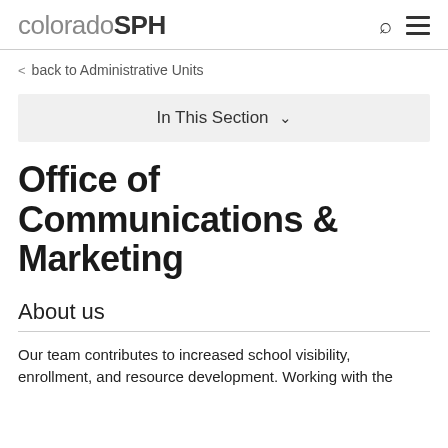coloradoSPH
back to Administrative Units
In This Section
Office of Communications & Marketing
About us
Our team contributes to increased school visibility, enrollment, and resource development. Working with the